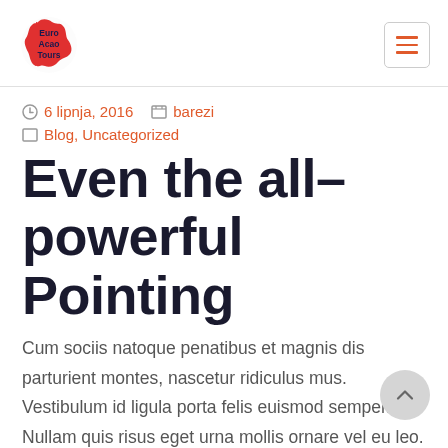Euro Acao Tours — navigation header with logo and hamburger menu
6 lipnja, 2016   barezi
Blog, Uncategorized
Even the all-powerful Pointing
Cum sociis natoque penatibus et magnis dis parturient montes, nascetur ridiculus mus. Vestibulum id ligula porta felis euismod semper. Nullam quis risus eget urna mollis ornare vel eu leo. Donec id elit non mi porta gravida at eget me Curabitur blandit tempus porttitor. Fusce dapi tellus ac cursus commodo, tortor mauris